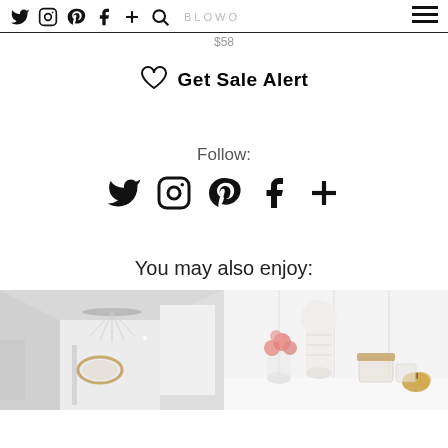Twitter Instagram Pinterest Facebook + Search [nav icons] [hamburger menu]
$58
♡  Get Sale Alert
Follow:
[Figure (infographic): Social media icons row: Twitter, Instagram, Pinterest, Facebook, Plus sign]
You may also enjoy:
[Figure (photo): Interior hallway photo with chandelier and a gold oval mirror on white wall]
[Figure (photo): White decorative vase with pink roses in glass vase and gold jar on white surface]